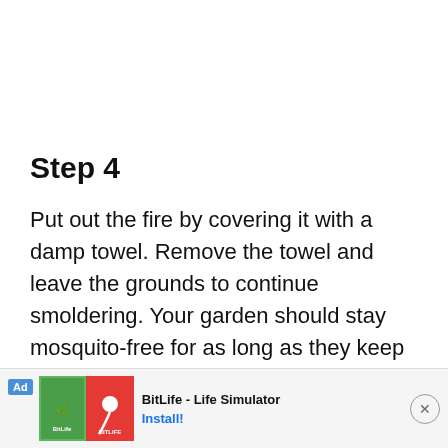Step 4
Put out the fire by covering it with a damp towel. Remove the towel and leave the grounds to continue smoldering. Your garden should stay mosquito-free for as long as they keep smoking.
[Figure (other): Advertisement banner for BitLife - Life Simulator mobile app with install button and close button]